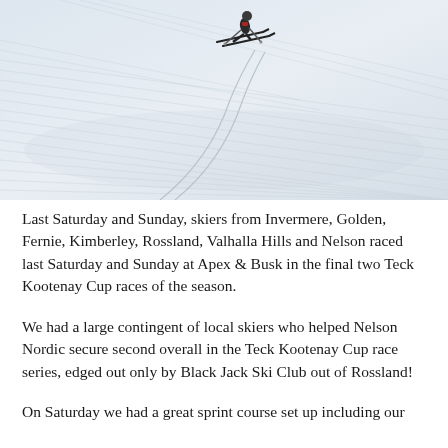[Figure (photo): Aerial or elevated view of a cross-country skier on a groomed snow trail with ski tracks visible on the snowy surface. The skier is near the top of the image, wearing dark clothing, with ski poles extended.]
Last Saturday and Sunday, skiers from Invermere, Golden, Fernie, Kimberley, Rossland, Valhalla Hills and Nelson raced last Saturday and Sunday at Apex & Busk in the final two Teck Kootenay Cup races of the season.
We had a large contingent of local skiers who helped Nelson Nordic secure second overall in the Teck Kootenay Cup race series, edged out only by Black Jack Ski Club out of Rossland!
On Saturday we had a great sprint course set up including our